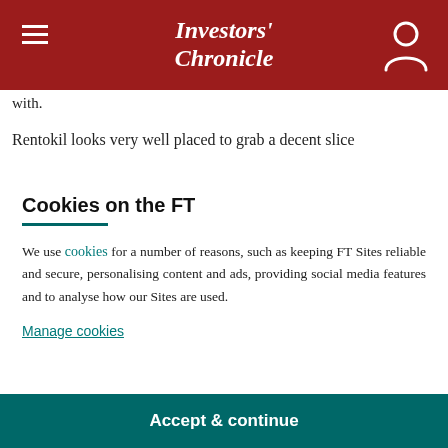Investors' Chronicle
with.
Rentokil looks very well placed to grab a decent slice
Cookies on the FT
We use cookies for a number of reasons, such as keeping FT Sites reliable and secure, personalising content and ads, providing social media features and to analyse how our Sites are used.
Manage cookies
Accept & continue